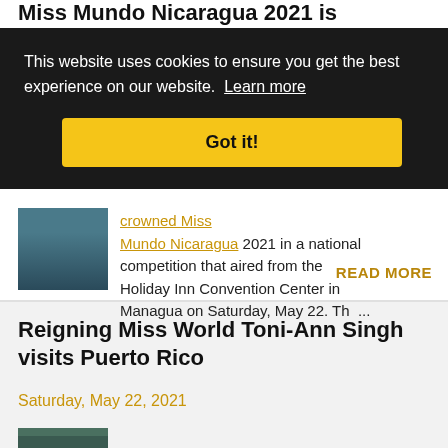Miss Mundo Nicaragua 2021 is Mariela Cerros
This website uses cookies to ensure you get the best experience on our website. Learn more
Got it!
crowned Miss Mundo Nicaragua 2021 in a national competition that aired from the Holiday Inn Convention Center in Managua on Saturday, May 22. The ...
READ MORE
Reigning Miss World Toni-Ann Singh visits Puerto Rico
Saturday, May 22, 2021